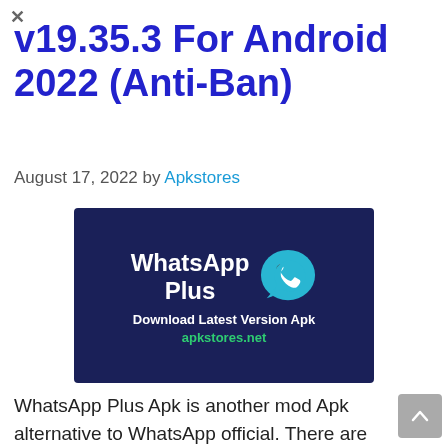v19.35.3 For Android 2022 (Anti-Ban)
August 17, 2022 by Apkstores
[Figure (logo): WhatsApp Plus logo banner on dark navy background with teal phone/chat bubble icon, text 'WhatsApp Plus', 'Download Latest Version Apk', 'apkstores.net']
WhatsApp Plus Apk is another mod Apk alternative to WhatsApp official. There are many WhatsApp mod APK alternatives